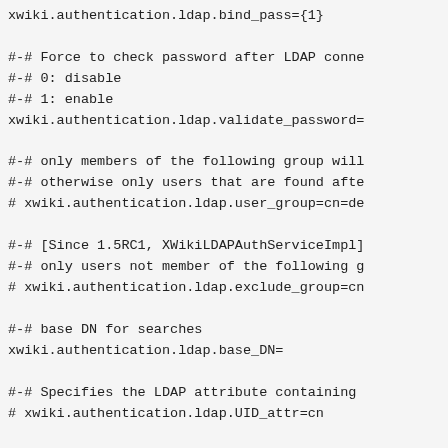xwiki.authentication.ldap.bind_pass={1}

#-# Force to check password after LDAP conne
#-# 0: disable
#-# 1: enable
xwiki.authentication.ldap.validate_password=

#-# only members of the following group will
#-# otherwise only users that are found afte
# xwiki.authentication.ldap.user_group=cn=de

#-# [Since 1.5RC1, XWikiLDAPAuthServiceImpl]
#-# only users not member of the following g
# xwiki.authentication.ldap.exclude_group=cn

#-# base DN for searches
xwiki.authentication.ldap.base_DN=

#-# Specifies the LDAP attribute containing
# xwiki.authentication.ldap.UID_attr=cn

#-# [Since 1.5M1, XWikiLDAPAuthServiceImpl]
#-# Specifies the LDAP attribute containing